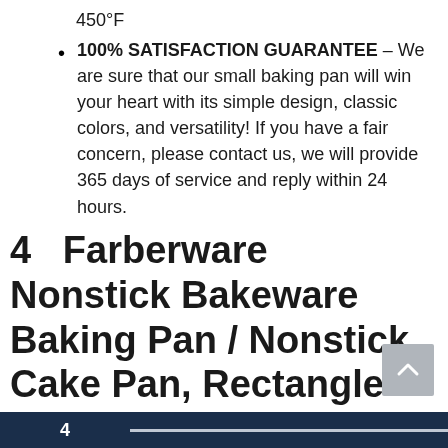450°F
100% SATISFACTION GUARANTEE – We are sure that our small baking pan will win your heart with its simple design, classic colors, and versatility! If you have a fair concern, please contact us, we will provide 365 days of service and reply within 24 hours.
4   Farberware Nonstick Bakeware Baking Pan / Nonstick Cake Pan, Rectangle - 9 Inch x 13 Inch, Gray
4